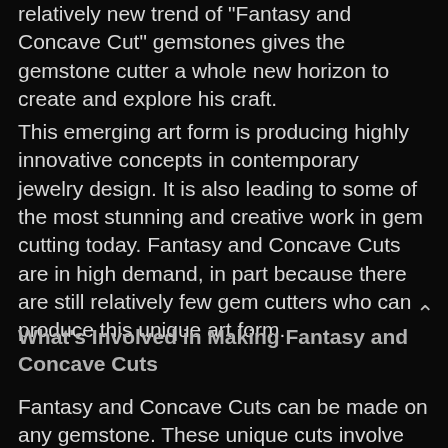relatively new trend of "Fantasy and Concave Cut" gemstones gives the gemstone cutter a whole new horizon to create and explore his craft.
This emerging art form is producing highly innovative concepts in contemporary jewelry design. It is also leading to some of the most stunning and creative work in gem cutting today. Fantasy and Concave Cuts are in high demand, in part because there are still relatively few gem cutters who can produce this unique art form.
What's Involved in Making Fantasy and Concave Cuts
Fantasy and Concave Cuts can be made on any gemstone. These unique cuts involve the creative use of refracted light through a